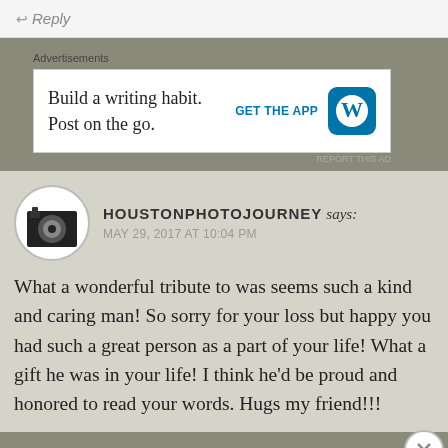↩ Reply
Advertisements
[Figure (screenshot): WordPress app advertisement: 'Build a writing habit. Post on the go.' with GET THE APP button and WordPress logo]
HOUSTONPHOTOJOURNEY says: MAY 29, 2017 AT 10:04 PM
What a wonderful tribute to was seems such a kind and caring man! So sorry for your loss but happy you had such a great person as a part of your life! What a gift he was in your life! I think he'd be proud and honored to read your words. Hugs my friend!!!
Advertisements
[Figure (screenshot): DuckDuckGo advertisement: 'Search, browse, and email with more privacy. All in One Free App' on orange background with DuckDuckGo logo on dark background]